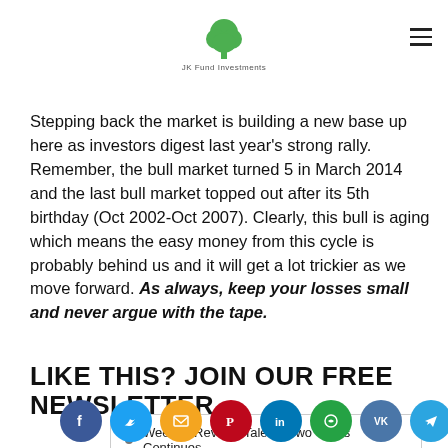JK Fund Investments
Stepping back the market is building a new base up here as investors digest last year's strong rally. Remember, the bull market turned 5 in March 2014 and the last bull market topped out after its 5th birthday (Oct 2002-Oct 2007). Clearly, this bull is aging which means the easy money from this cycle is probably behind us and it will get a lot trickier as we move forward. As always, keep your losses small and never argue with the tape.
LIKE THIS? JOIN OUR FREE NEWSLETTER
Week In Review: Tale Of Two Tapes Continues
[Figure (other): Social sharing buttons: Facebook, Twitter, Email, Pinterest, LinkedIn, WhatsApp, VK, Telegram, and scroll-to-top button]